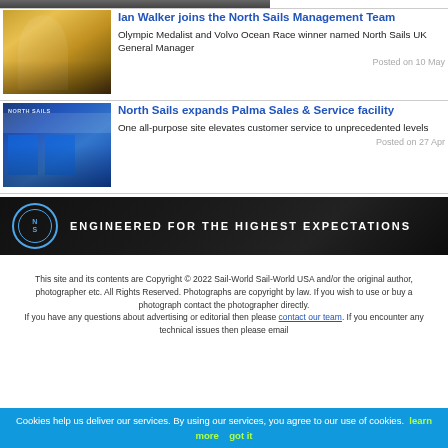[Figure (photo): Partial top image strip showing people, cut off at top of page]
[Figure (photo): Person in yellow jacket holding trophy, Ian Walker]
Ian Walker joins the North Sails Management Team
Olympic Medalist and Volvo Ocean Race winner named North Sails UK General Manager
Posted on 10 May
[Figure (photo): North Sails storefront with blue doors, Palma facility]
North Sails expands Palma Sales & Service facility
One all-purpose site elevates customer service to unprecedented levels
Posted on 27 Apr
[Figure (other): North Sails banner: logo with NS letters and text ENGINEERED FOR THE HIGHEST EXPECTATIONS on dark background]
This site and its contents are Copyright © 2022 Sail-World Sail-World USA and/or the original author, photographer etc. All Rights Reserved. Photographs are copyright by law. If you wish to use or buy a photograph contact the photographer directly. If you have any questions about advertising or editorial then please contact our team. If you encounter any technical issues then please email
Cookies help us deliver our services. By using our services, you agree to our use of cookies. learn more   got it